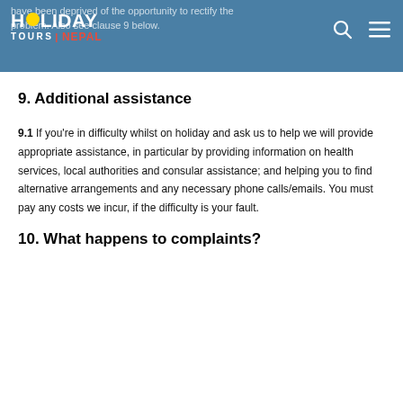have been deprived of the opportunity to rectify the problem. Also see clause 9 below.
[Figure (logo): Holiday Tours Nepal logo with yellow circle O, red Nepal text, on blue header bar with search and menu icons]
9. Additional assistance
9.1 If you're in difficulty whilst on holiday and ask us to help we will provide appropriate assistance, in particular by providing information on health services, local authorities and consular assistance; and helping you to find alternative arrangements and any necessary phone calls/emails. You must pay any costs we incur, if the difficulty is your fault.
10. What happens to complaints?